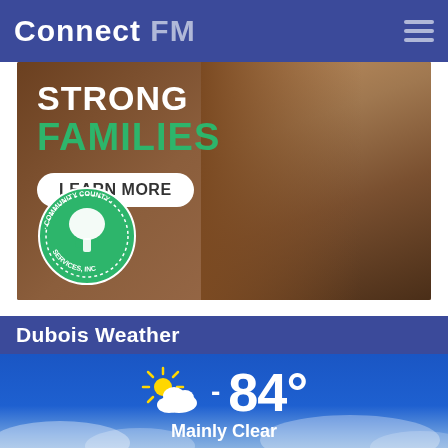Connect FM
[Figure (illustration): Advertisement banner for Community County Services Inc. showing a mother and child with text 'STRONG FAMILIES - LEARN MORE' and the Community County Services Inc. circular logo]
Dubois Weather
[Figure (infographic): Weather widget showing partly cloudy icon and temperature 84° with label 'Mainly Clear' on a blue sky background]